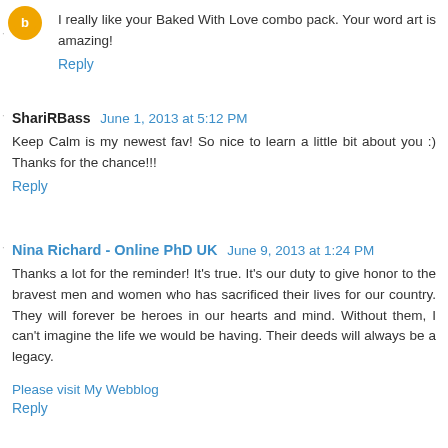I really like your Baked With Love combo pack. Your word art is amazing!
Reply
ShariRBass  June 1, 2013 at 5:12 PM
Keep Calm is my newest fav! So nice to learn a little bit about you :) Thanks for the chance!!!
Reply
Nina Richard - Online PhD UK  June 9, 2013 at 1:24 PM
Thanks a lot for the reminder! It's true. It's our duty to give honor to the bravest men and women who has sacrificed their lives for our country. They will forever be heroes in our hearts and mind. Without them, I can't imagine the life we would be having. Their deeds will always be a legacy.
Please visit My Webblog
Reply